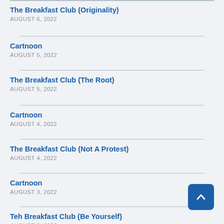The Breakfast Club (Originality)
AUGUST 6, 2022
Cartnoon
AUGUST 5, 2022
The Breakfast Club (The Root)
AUGUST 5, 2022
Cartnoon
AUGUST 4, 2022
The Breakfast Club (Not A Protest)
AUGUST 4, 2022
Cartnoon
AUGUST 3, 2022
Teh Breakfast Club (Be Yourself)
AUGUST 3, 2022